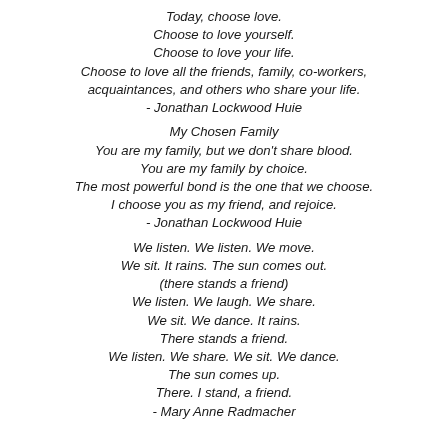Today, choose love.
Choose to love yourself.
Choose to love your life.
Choose to love all the friends, family, co-workers,
acquaintances, and others who share your life.
- Jonathan Lockwood Huie
My Chosen Family
You are my family, but we don't share blood.
You are my family by choice.
The most powerful bond is the one that we choose.
I choose you as my friend, and rejoice.
- Jonathan Lockwood Huie
We listen. We listen. We move.
We sit. It rains. The sun comes out.
(there stands a friend)
We listen. We laugh. We share.
We sit. We dance. It rains.
There stands a friend.
We listen. We share. We sit. We dance.
The sun comes up.
There. I stand, a friend.
- Mary Anne Radmacher